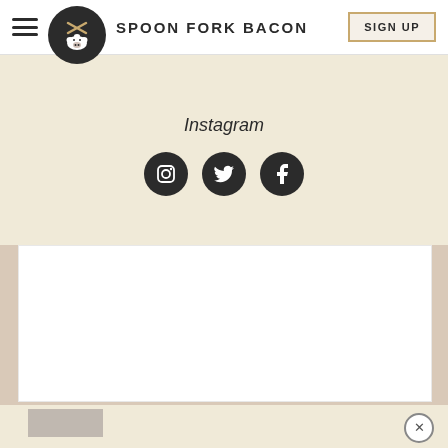[Figure (logo): Spoon Fork Bacon website header with hamburger menu, circular pig logo, site title, and Sign Up button]
Instagram
[Figure (infographic): Three circular social media icons: Instagram, Twitter, Facebook]
[Figure (photo): Large white/blank content area]
[Figure (photo): Bottom partial section with close X button and small grey image placeholder]